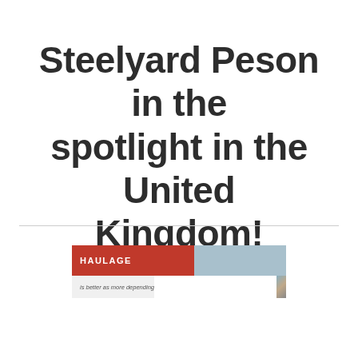Steelyard Peson in the spotlight in the United Kingdom!
[Figure (illustration): Haulage magazine/publication banner image with red header bar labeled HAULAGE, subtitle text below, and a photo of a building roof on the right side]